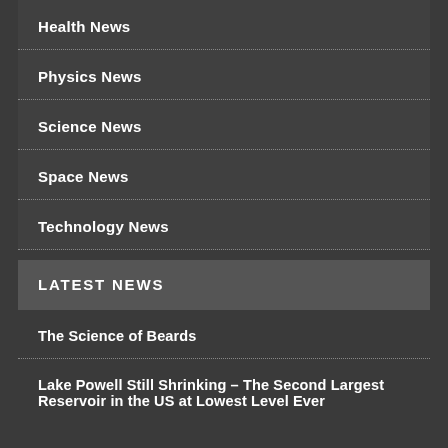Health News
Physics News
Science News
Space News
Technology News
LATEST NEWS
The Science of Beards
Lake Powell Still Shrinking – The Second Largest Reservoir in the US at Lowest Level Ever